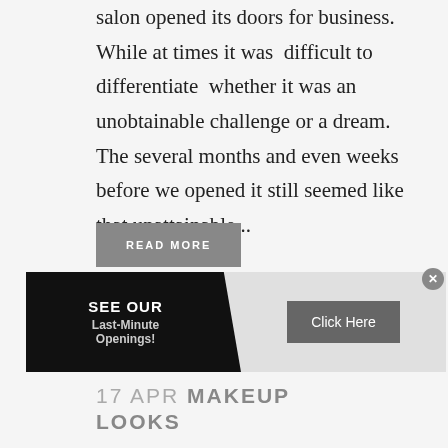salon opened its doors for business. While at times it was difficult to differentiate whether it was an unobtainable challenge or a dream. The several months and even weeks before we opened it still seemed like that unattainable...
READ MORE
[Figure (other): Advertisement banner with black left panel reading 'SEE OUR Last-Minute Openings!' and grey right panel with 'Click Here' button. Close button (x) in top-right corner.]
17 APR MAKEUP LOOKS